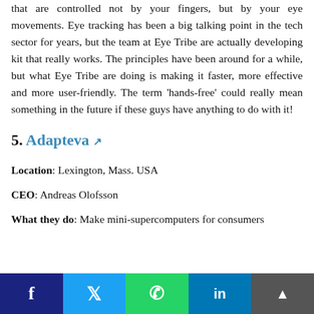that are controlled not by your fingers, but by your eye movements. Eye tracking has been a big talking point in the tech sector for years, but the team at Eye Tribe are actually developing kit that really works. The principles have been around for a while, but what Eye Tribe are doing is making it faster, more effective and more user-friendly. The term 'hands-free' could really mean something in the future if these guys have anything to do with it!
5. Adapteva ↗
Location: Lexington, Mass. USA
CEO: Andreas Olofsson
What they do: Make mini-supercomputers for consumers